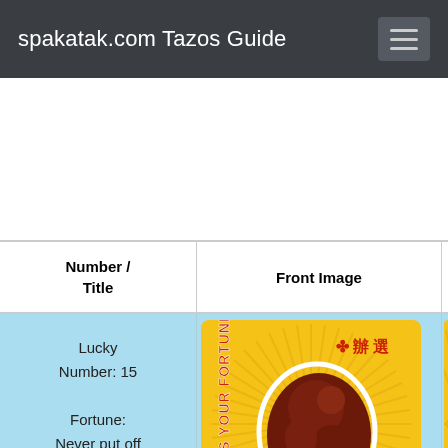spakatak.com Tazos Guide
| Number / Title | Front Image | Back I |
| --- | --- | --- |
| Lucky Number: 15

Fortune: Never put off until tomorrow | [Front Image of Tazo] | [Back Image partial] |